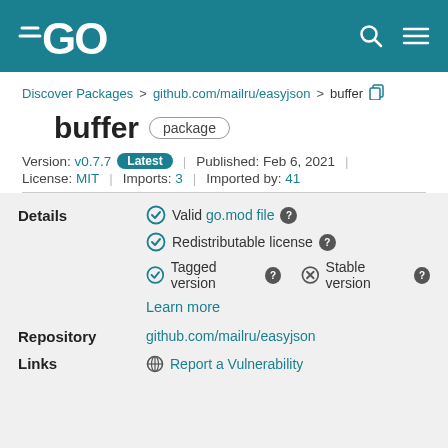[Figure (logo): Go programming language logo — white GO text with lines on teal background]
Go package registry header with search and menu icons
Discover Packages > github.com/mailru/easyjson > buffer
buffer package
Version: v0.7.7 Latest | Published: Feb 6, 2021 | License: MIT | Imports: 3 | Imported by: 41
Details
Valid go.mod file
Redistributable license
Tagged version
Stable version (not stable)
Learn more
Repository
github.com/mailru/easyjson
Links
Report a Vulnerability